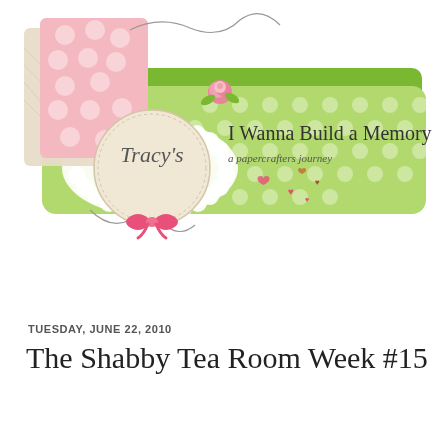[Figure (illustration): Blog header banner for 'Tracy's I Wanna Build a Memory - a papercrafters journey'. Features decorative scrapbook-style elements including layered patterned papers (pink floral, beige damask, green polka dot), a circular label reading 'Tracy's', a pink rose embellishment, a pink ribbon bow, small hearts, and a green rounded rectangle banner with the blog title text.]
TUESDAY, JUNE 22, 2010
The Shabby Tea Room Week #15